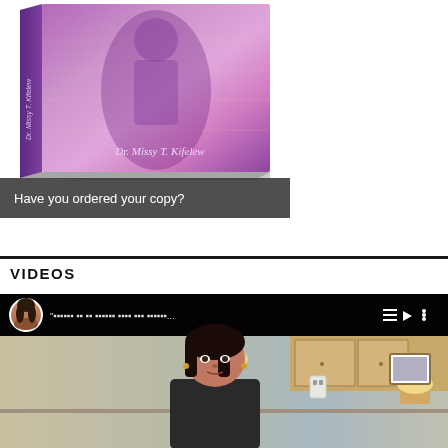[Figure (photo): Book cover for a book by Dr. Missy T. Kifelew with purple/violet tones and a figure silhouette]
Have you ordered your copy?
VIDEOS
[Figure (screenshot): Video player showing a woman speaking in a kitchen setting with a playlist/video title bar at top showing a partially visible title with symbols]